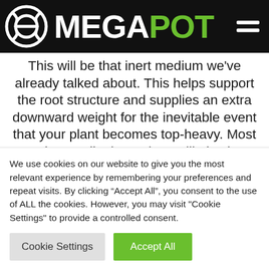MEGA POT
This will be that inert medium we've already talked about. This helps support the root structure and supplies an extra downward weight for the inevitable event that your plant becomes top-heavy. Most growing media these days will also be a neutral pH level. This means it won't disrupt your feeding nutrients
We use cookies on our website to give you the most relevant experience by remembering your preferences and repeat visits. By clicking “Accept All”, you consent to the use of ALL the cookies. However, you may visit "Cookie Settings" to provide a controlled consent.